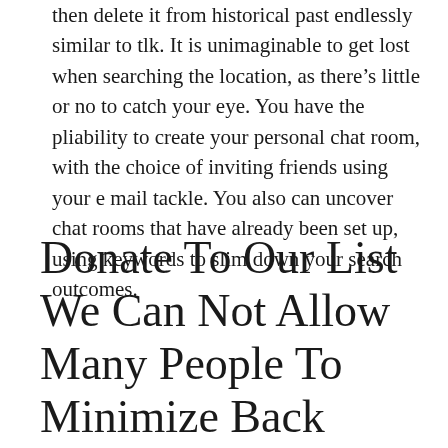then delete it from historical past endlessly similar to tlk. It is unimaginable to get lost when searching the location, as there’s little or no to catch your eye. You have the pliability to create your personal chat room, with the choice of inviting friends using your e mail tackle. You also can uncover chat rooms that have already been set up, using keywords to slim down your search outcomes.
Donate To Our List We Can Not Allow Many People To Minimize Back Their Financial Lifeline I